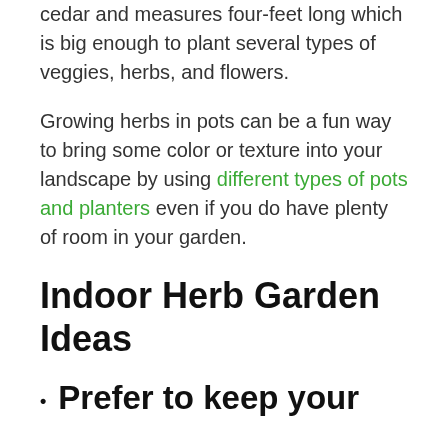This large planter is made from Butcner block cedar and measures four-feet long which is big enough to plant several types of veggies, herbs, and flowers.
Growing herbs in pots can be a fun way to bring some color or texture into your landscape by using different types of pots and planters even if you do have plenty of room in your garden.
Indoor Herb Garden Ideas
Prefer to keep your